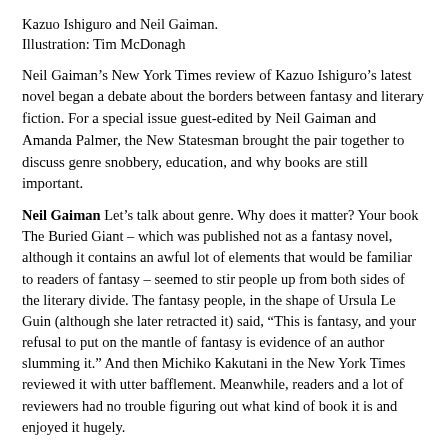Kazuo Ishiguro and Neil Gaiman.
Illustration: Tim McDonagh
Neil Gaiman’s New York Times review of Kazuo Ishiguro’s latest novel began a debate about the borders between fantasy and literary fiction. For a special issue guest-edited by Neil Gaiman and Amanda Palmer, the New Statesman brought the pair together to discuss genre snobbery, education, and why books are still important.
Neil Gaiman Let’s talk about genre. Why does it matter? Your book The Buried Giant – which was published not as a fantasy novel, although it contains an awful lot of elements that would be familiar to readers of fantasy – seemed to stir people up from both sides of the literary divide. The fantasy people, in the shape of Ursula Le Guin (although she later retracted it) said, “This is fantasy, and your refusal to put on the mantle of fantasy is evidence of an author slumming it.” And then Michiko Kakutani in the New York Times reviewed it with utter bafflement. Meanwhile, readers and a lot of reviewers had no trouble figuring out what kind of book it is and enjoyed it hugely.
Kazuo Ishiguro I felt like I’d stepped into some larger discussion that had been going on for some time. I expected some of my usual readers to say, “What’s this? There are ogres in it . . .” but I didn’t